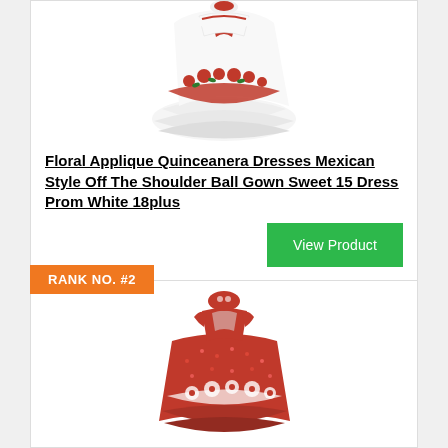[Figure (photo): White ball gown dress with red floral applique, off-shoulder, tiered layers]
Floral Applique Quinceanera Dresses Mexican Style Off The Shoulder Ball Gown Sweet 15 Dress Prom White 18plus
View Product
RANK NO. #2
[Figure (photo): Red sequin quinceanera dress with white floral applique details]